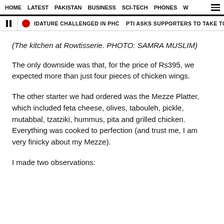HOME  LATEST  PAKISTAN  BUSINESS  SCI-TECH  PHONES  W
IDATURE CHALLENGED IN PHC  PTI ASKS SUPPORTERS TO TAKE TO STREETS AM...
(The kitchen at Rowtisserie. PHOTO: SAMRA MUSLIM)
The only downside was that, for the price of Rs395, we expected more than just four pieces of chicken wings.
The other starter we had ordered was the Mezze Platter, which included feta cheese, olives, tabouleh, pickle, mutabbal, tzatziki, hummus, pita and grilled chicken. Everything was cooked to perfection (and trust me, I am very finicky about my Mezze).
I made two observations: